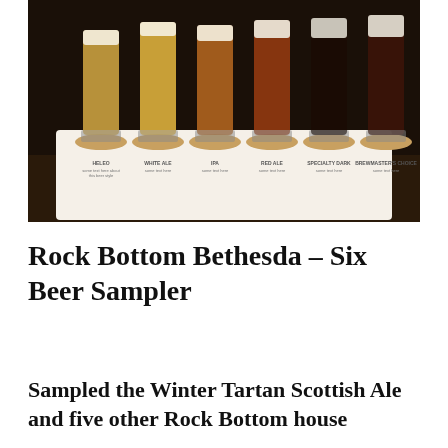[Figure (photo): A photo of six beer sampler glasses arranged in a row on a tray at Rock Bottom Brewery Bethesda. The beers range in color from light golden to very dark brown/black, with foam heads. Each glass sits on a branded coaster/mat with the beer name and description.]
Rock Bottom Bethesda – Six Beer Sampler
Sampled the Winter Tartan Scottish Ale and five other Rock Bottom house